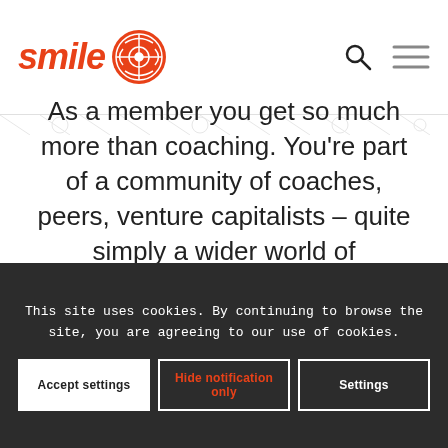[Figure (logo): SMiLE logo with orange text and circular icon badge with abstract design]
As a member you get so much more than coaching. You’re part of a community of coaches, peers, venture capitalists – quite simply a wider world of opportunities.
This site uses cookies. By continuing to browse the site, you are agreeing to our use of cookies.
Accept settings
Hide notification only
Settings